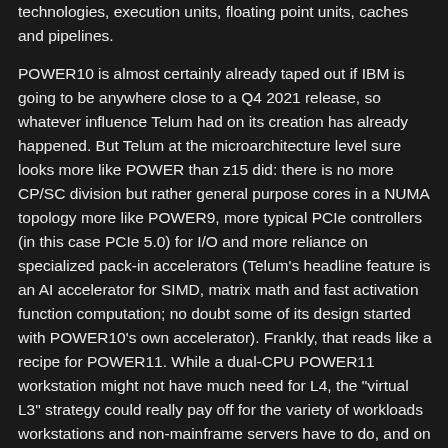technologies, execution units, floating point units, caches and pipelines.
POWER10 is almost certainly already taped out if IBM is going to be anywhere close to a Q4 2021 release, so whatever influence Telum had on its creation has already happened. But Telum at the microarchitecture level sure looks more like POWER than z15 did: there is no more CP/SC division but rather general purpose cores in a NUMA topology more like POWER9, more typical PCIe controllers (in this case PCIe 5.0) for I/O and more reliance on specialized pack-in accelerators (Telum's headline feature is an AI accelerator for SIMD, matrix math and fast activation function computation; no doubt some of its design started with POWER10's own accelerator). Frankly, that reads like a recipe for POWER11. While a dual-CPU POWER11 workstation might not have much need for L4, the "virtual L3" strategy could really pay off for the variety of workloads workstations and non-mainframe servers have to do, and on a four or eight-socket server, the availability of